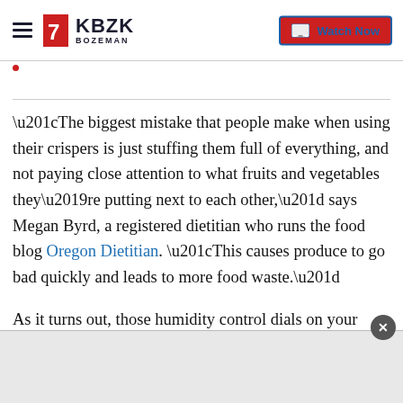KBZK BOZEMAN | Watch Now
“The biggest mistake that people make when using their crispers is just stuffing them full of everything, and not paying close attention to what fruits and vegetables they’re putting next to each other,” says Megan Byrd, a registered dietitian who runs the food blog Oregon Dietitian. “This causes produce to go bad quickly and leads to more food waste.”
As it turns out, those humidity control dials on your